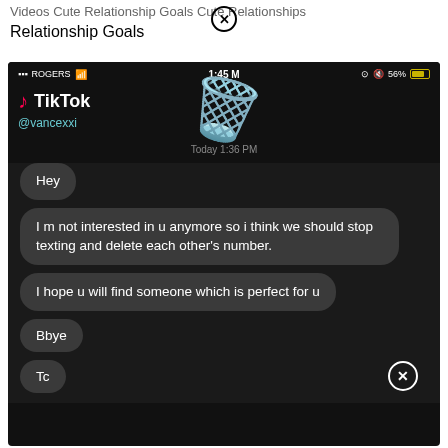Videos Cute Relationship Goals Cute Relationships Relationship Goals
[Figure (screenshot): TikTok app screenshot showing a dark-mode messaging conversation. Status bar shows ROGERS carrier, 1:45 PM, 56% battery. TikTok header with @vancexxi handle and a pink trash can emoji overlay. Chat messages from Today 1:36 PM: 'Hey', 'I m not interested in u anymore so i think we should stop texting and delete each other’s number.', 'I hope u will find someone which is perfect for u', 'Bbye', 'Tc'. A circle-X button at bottom center.]